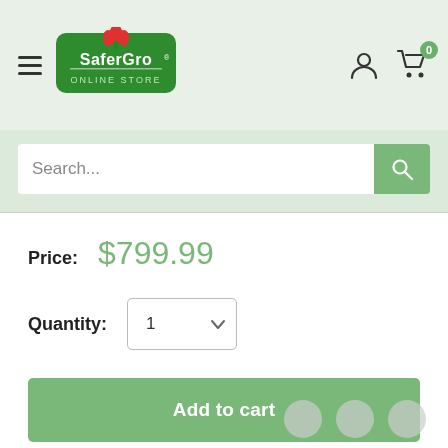[Figure (logo): SaferGro Online Store logo with red tulip icon and green text]
Search...
Price: $799.99
Quantity: 1
Add to cart